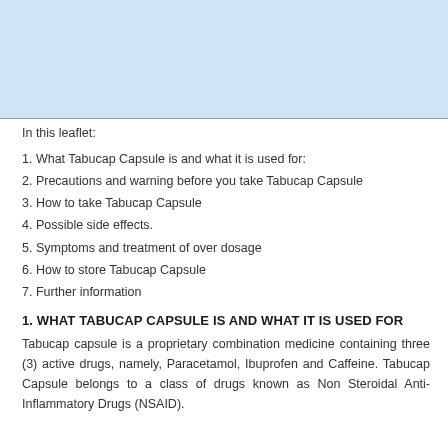[Figure (other): Light blue header banner at the top of the page]
In this leaflet:
1. What Tabucap Capsule is and what it is used for:
2. Precautions and warning before you take Tabucap Capsule
3. How to take Tabucap Capsule
4. Possible side effects.
5. Symptoms and treatment of over dosage
6. How to store Tabucap Capsule
7. Further information
1. WHAT TABUCAP CAPSULE IS AND WHAT IT IS USED FOR
Tabucap capsule is a proprietary combination medicine containing three (3) active drugs, namely, Paracetamol, Ibuprofen and Caffeine. Tabucap Capsule belongs to a class of drugs known as Non Steroidal Anti-Inflammatory Drugs (NSAID).